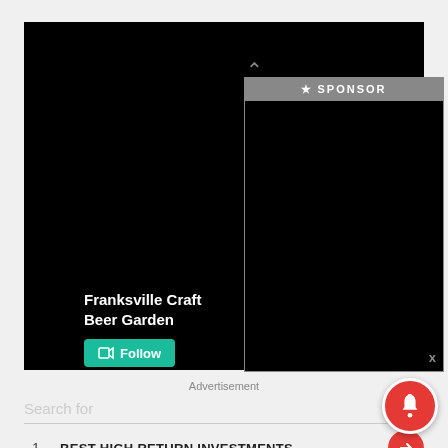[Figure (screenshot): Black advertisement background with a sponsor panel on the right side showing 'SPONSOR' header in gray, Franksville Craft Beer Garden text and a teal Follow button in the lower left.]
Advertisement
Search for
1. BEST HIGH RETURN INVESTMENTS
2. MASTER'S DEGREE IN CYBERSECURITY
Ad | Business Focus